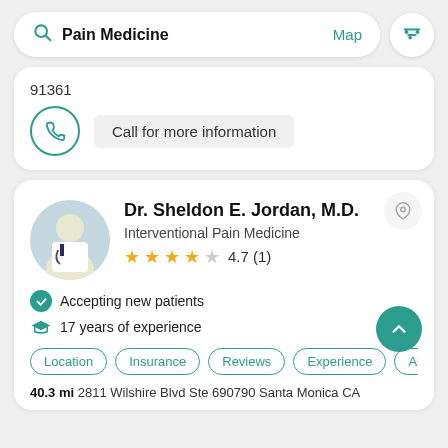[Figure (screenshot): Mobile app search bar with 'Pain Medicine' query, Map link, and filter icon]
91361
Call for more information
Dr. Sheldon E. Jordan, M.D.
Interventional Pain Medicine
4.7 (1)
Accepting new patients
17 years of experience
Location Insurance Reviews Experience Abo
40.3 mi 2811 Wilshire Blvd Ste 690790 Santa Monica CA